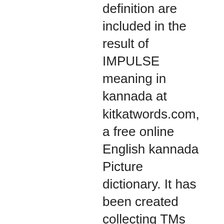definition are included in the result of IMPULSE meaning in kannada at kitkatwords.com, a free online English kannada Picture dictionary. It has been created collecting TMs from the European Union and United Nations, and aligning the best domain-specific multilingual websites. Ganga and featured Surya Kiran, Praveen Ganga, Sushmitha and Raja Balwadi lead. Sri Vishnusahasranamam contains 1008 Names of Sri Mahavishnu. Usage Frequency: 1 Inflammable and